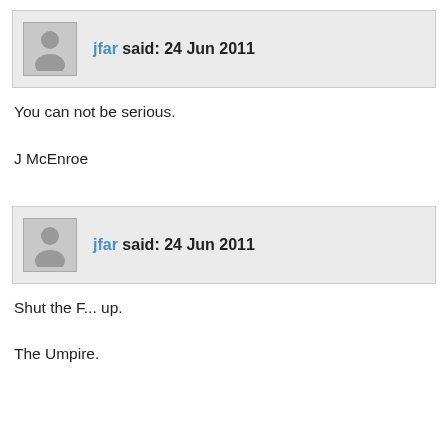jfar said: 24 Jun 2011
You can not be serious.

J McEnroe
jfar said: 24 Jun 2011
Shut the F... up.

The Umpire.